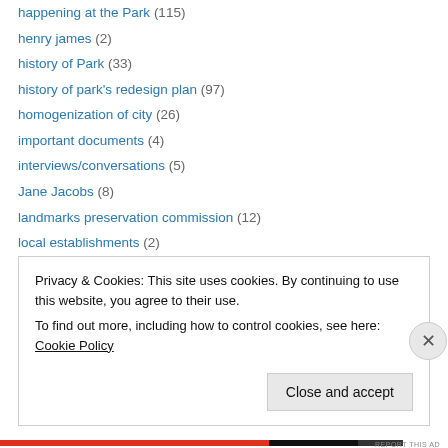happening at the Park (115)
henry james (2)
history of Park (33)
history of park's redesign plan (97)
homogenization of city (26)
important documents (4)
interviews/conversations (5)
Jane Jacobs (8)
landmarks preservation commission (12)
local establishments (2)
magical park (5)
mayor bloomberg (95)
media (50)
Privacy & Cookies: This site uses cookies. By continuing to use this website, you agree to their use. To find out more, including how to control cookies, see here: Cookie Policy
Close and accept